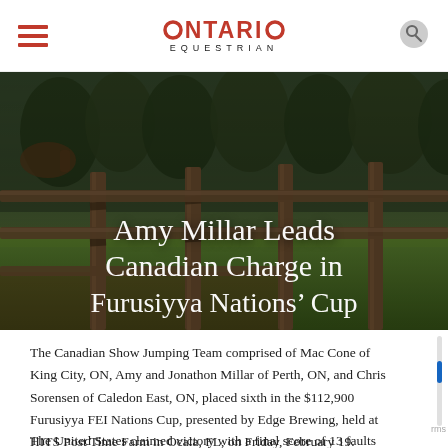ONTARIO EQUESTRIAN
[Figure (photo): Hero image of a wooden fence in a green field with trees in background, overlaid with large white text title]
Amy Millar Leads Canadian Charge in Furusiyya Nations' Cup
The Canadian Show Jumping Team comprised of Mac Cone of King City, ON, Amy and Jonathon Millar of Perth, ON, and Chris Sorensen of Caledon East, ON, placed sixth in the $112,900 Furusiyya FEI Nations Cup, presented by Edge Brewing, held at HITS Post Time Farm in Ocala, FL, on Friday, February 19.
The United States claimed victory with a final score of 13 faults